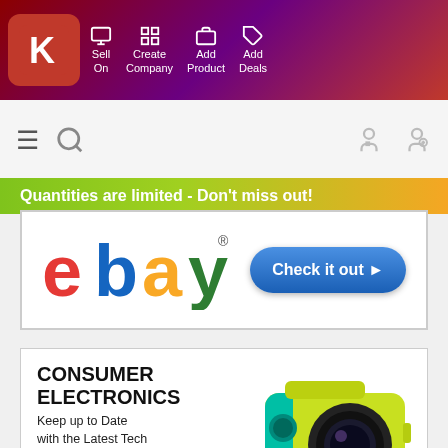[Figure (screenshot): Mobile app top navigation bar with red/purple gradient background, K logo, and menu items: Sell On, Create Company, Add Product, Add Deals]
[Figure (screenshot): Secondary navigation bar with hamburger menu, search icon, and user/register icons]
Quantities are limited - Don't miss out!
[Figure (logo): eBay logo with Check it out button]
[Figure (infographic): Consumer Electronics advertisement: Keep up to Date with the Latest Tech, Up to 50% off, with image of yellow/green action camera]